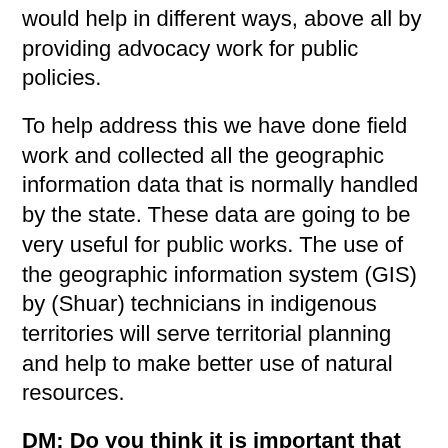would help in different ways, above all by providing advocacy work for public policies.
To help address this we have done field work and collected all the geographic information data that is normally handled by the state. These data are going to be very useful for public works. The use of the geographic information system (GIS) by (Shuar) technicians in indigenous territories will serve territorial planning and help to make better use of natural resources.
DM: Do you think it is important that young people in your community learn to make their own maps?
MVS: Education and training in the management of GIS, where young people or communities can choose to manage their satellite data and images, as well as the implementation of technologies is very important, because currently the support is minimal.
Within the three organizations that are part of the “All Eyes on the Amazon” project, we have only 9